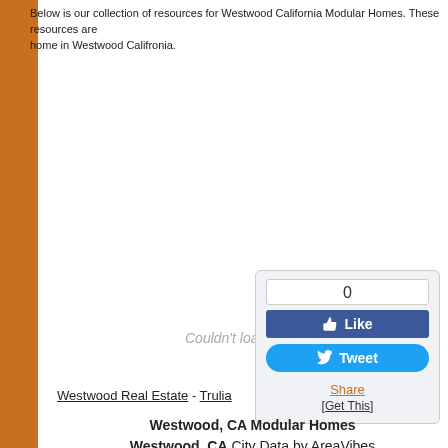Below is our collection of resources for Westwood California Modular Homes. These resources are home in Westwood Califronia.
[Figure (screenshot): Plugin failed to load area showing 'Couldn't load plugin.' message in gray italic text]
[Figure (screenshot): Social sharing widget with Facebook Like button showing count 0, Tweet button, Share link, and [Get This] link]
Westwood Real Estate - Trulia
Westwood, CA Modular Homes
Westwood, CA City Data by AreaVibes